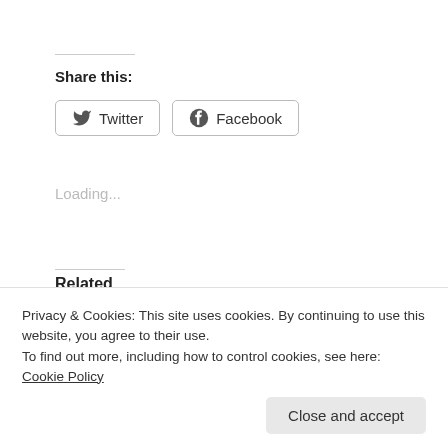Share this:
[Figure (other): Twitter and Facebook share buttons with icons]
Loading...
Related
[Figure (photo): Blue sky photo thumbnail (left)]
[Figure (photo): Sky with clouds and trees photo thumbnail (right)]
Privacy & Cookies: This site uses cookies. By continuing to use this website, you agree to their use. To find out more, including how to control cookies, see here: Cookie Policy
Close and accept
Areas in Conservation
In "Opinions"